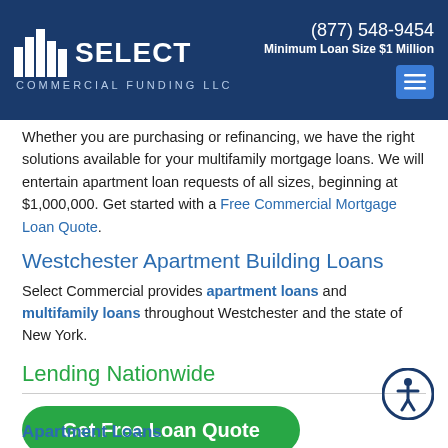Select Commercial Funding LLC | (877) 548-9454 | Minimum Loan Size $1 Million
Whether you are purchasing or refinancing, we have the right solutions available for your multifamily mortgage loans. We will entertain apartment loan requests of all sizes, beginning at $1,000,000. Get started with a Free Commercial Mortgage Loan Quote.
Westchester Apartment Building Loans
Select Commercial provides apartment loans and multifamily loans throughout Westchester and the state of New York.
Lending Nationwide
Get Free Loan Quote
Apartment Loans